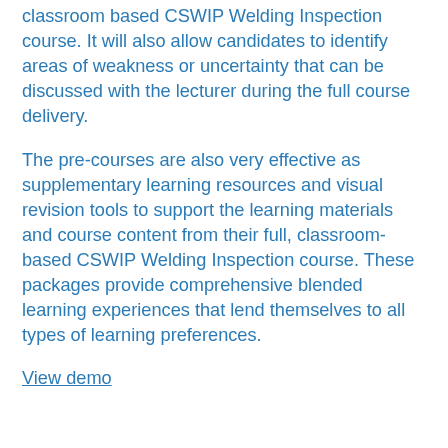classroom based CSWIP Welding Inspection course. It will also allow candidates to identify areas of weakness or uncertainty that can be discussed with the lecturer during the full course delivery.
The pre-courses are also very effective as supplementary learning resources and visual revision tools to support the learning materials and course content from their full, classroom-based CSWIP Welding Inspection course. These packages provide comprehensive blended learning experiences that lend themselves to all types of learning preferences.
View demo